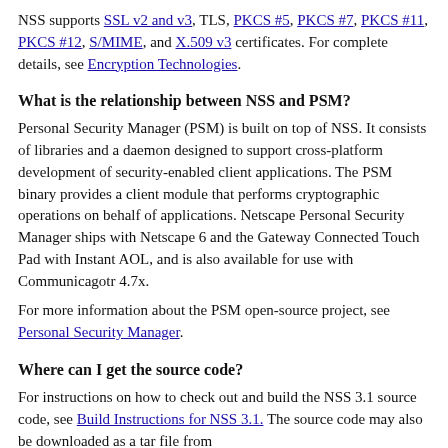NSS supports SSL v2 and v3, TLS, PKCS #5, PKCS #7, PKCS #11, PKCS #12, S/MIME, and X.509 v3 certificates. For complete details, see Encryption Technologies.
What is the relationship between NSS and PSM?
Personal Security Manager (PSM) is built on top of NSS. It consists of libraries and a daemon designed to support cross-platform development of security-enabled client applications. The PSM binary provides a client module that performs cryptographic operations on behalf of applications. Netscape Personal Security Manager ships with Netscape 6 and the Gateway Connected Touch Pad with Instant AOL, and is also available for use with Communicagotr 4.7x.
For more information about the PSM open-source project, see Personal Security Manager.
Where can I get the source code?
For instructions on how to check out and build the NSS 3.1 source code, see Build Instructions for NSS 3.1. The source code may also be downloaded as a tar file from ftp://ftp.mozilla.org/pub/mozilla.org/security/.